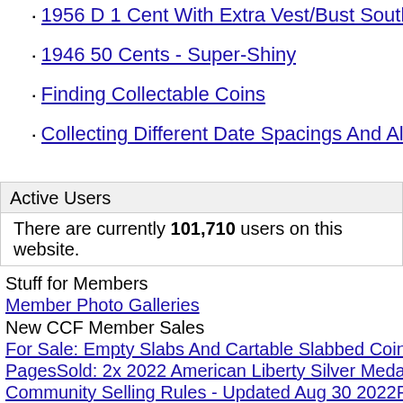1956 D 1 Cent With Extra Vest/Bust South Of M
1946 50 Cents - Super-Shiny
Finding Collectable Coins
Collecting Different Date Spacings And Alignments
Active Users
There are currently 101,710 users on this website.
Stuff for Members
Member Photo Galleries
New CCF Member Sales
For Sale: Empty Slabs And Cartable Slabbed Coins
PagesSold: 2x 2022 American Liberty Silver Medal
Community Selling Rules - Updated Aug 30 2022Fo
Peace Dollars - Liqdating My CollecctionSold: Jeffe